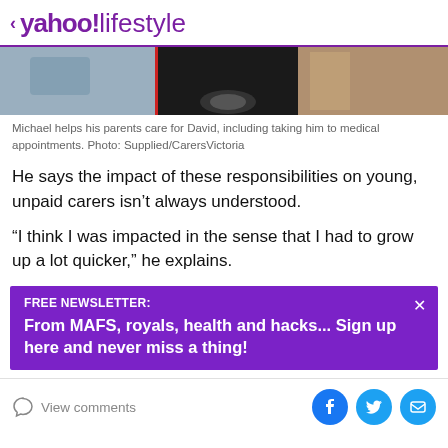< yahoo!lifestyle
[Figure (photo): Cropped photo showing a vehicle door, a red motorcycle, and a person walking on pavement]
Michael helps his parents care for David, including taking him to medical appointments. Photo: Supplied/CarersVictoria
He says the impact of these responsibilities on young, unpaid carers isn't always understood.
“I think I was impacted in the sense that I had to grow up a lot quicker,” he explains.
FREE NEWSLETTER: From MAFS, royals, health and hacks... Sign up here and never miss a thing!
View comments